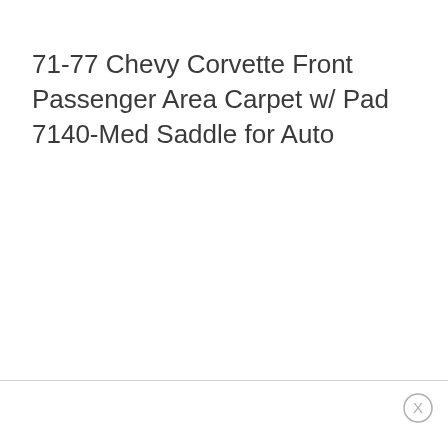71-77 Chevy Corvette Front Passenger Area Carpet w/ Pad 7140-Med Saddle for Auto
[Figure (illustration): Close button (X) circle icon in bottom-right area]